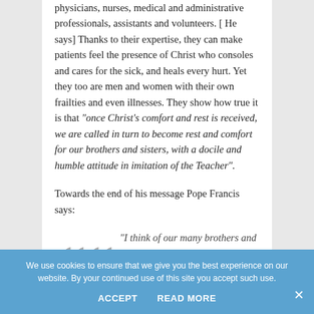physicians, nurses, medical and administrative professionals, assistants and volunteers. [He says] Thanks to their expertise, they can make patients feel the presence of Christ who consoles and cares for the sick, and heals every hurt. Yet they too are men and women with their own frailties and even illnesses. They show how true it is that “once Christ’s comfort and rest is received, we are called in turn to become rest and comfort for our brothers and sisters, with a docile and humble attitude in imitation of the Teacher”.
Towards the end of his message Pope Francis says:
“I think of our many brothers and sisters throughout the world who
We use cookies to ensure that we give you the best experience on our website. By your continued use of this site you accept such use.
ACCEPT
READ MORE